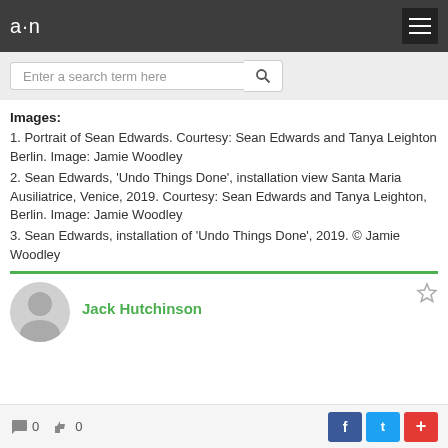a·n [logo] [menu button]
Enter a search term here [search button]
Images:
1. Portrait of Sean Edwards. Courtesy: Sean Edwards and Tanya Leighton Berlin. Image: Jamie Woodley
2. Sean Edwards, 'Undo Things Done', installation view Santa Maria Ausiliatrice, Venice, 2019. Courtesy: Sean Edwards and Tanya Leighton, Berlin. Image: Jamie Woodley
3. Sean Edwards, installation of 'Undo Things Done', 2019. © Jamie Woodley
Jack Hutchinson
0 comments  0 likes  [Facebook] [Twitter] [+]